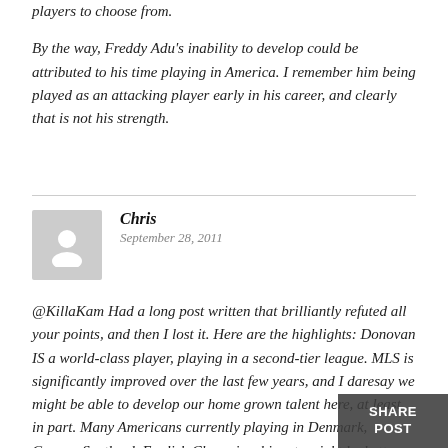players to choose from.
By the way, Freddy Adu's inability to develop could be attributed to his time playing in America. I remember him being played as an attacking player early in his career, and clearly that is not his strength.
Chris
September 28, 2011
[Figure (illustration): Avatar placeholder image showing a grey square with a white silhouette person icon]
@KillaKam Had a long post written that brilliantly refuted all your points, and then I lost it. Here are the highlights: Donovan IS a world-class player, playing in a second-tier league. MLS is significantly improved over the last few years, and I daresay we might be able to develop our home grown talent here, at least in part. Many Americans currently playing in Denmark, Greece, Scotland, English Championship, etc might be better served playing in MLS. Certainly our coaches can oversee their development easier if they are closer to home. Sending our 12-14 year-old pre-pubertal studs over to Europe does not seem like a great idea, for a number of reasons. A stronger MLS means stronger player development camps, minor league teams, and youth academies, so Landon staying at home is hugely important. He lends credibility to the league, he can play along side young studs like Omar Gonzalez, and a young
SHARE POST